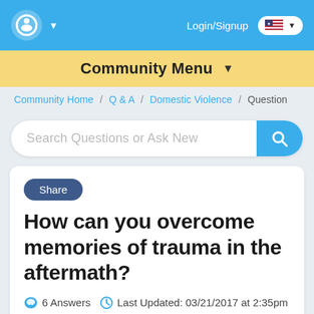Login/Signup
Community Menu
Community Home / Q & A / Domestic Violence / Question
Search Questions or Ask New
How can you overcome memories of trauma in the aftermath?
6 Answers   Last Updated: 03/21/2017 at 2:35pm